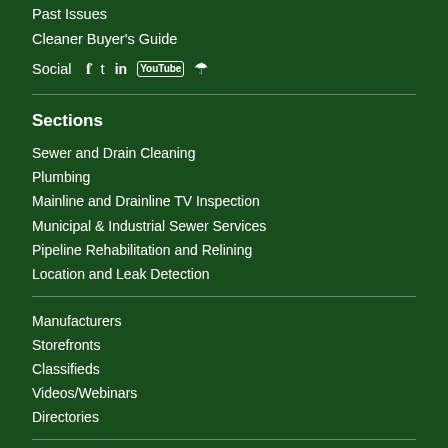Past Issues
Cleaner Buyer's Guide
Social  f  t  in  You  RSS
Sections
Sewer and Drain Cleaning
Plumbing
Mainline and Drainline TV Inspection
Municipal & Industrial Sewer Services
Pipeline Rehabilitation and Relining
Location and Leak Detection
Manufacturers
Storefronts
Classifieds
Videos/Webinars
Directories
Trending